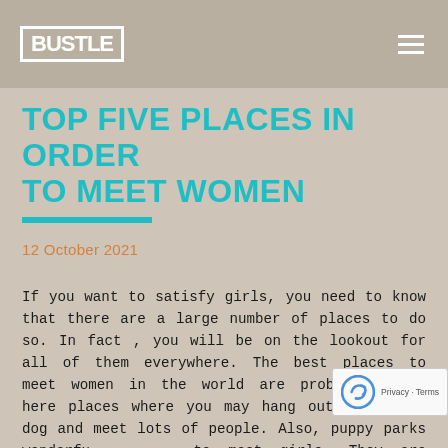BUSTLE
TOP FIVE PLACES IN ORDER TO MEET WOMEN
12 October 2021
If you want to satisfy girls, you need to know that there are a large number of places to do so. In fact , you will be on the lookout for all of them everywhere. The best places to meet women in the world are probably check here places where you may hang out with your dog and meet lots of people. Also, puppy parks wonderfu to meet girls. They are often congested, and the makes for a great place to start a conversation. love canines and you can find them at the playground